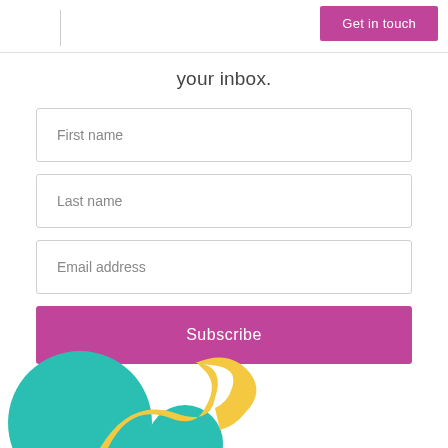Get in touch
your inbox.
First name
Last name
Email address
Subscribe
[Figure (illustration): Decorative colorful shapes at bottom of page: teal circle, yellow curved arrow-like shape, smaller teal shape]